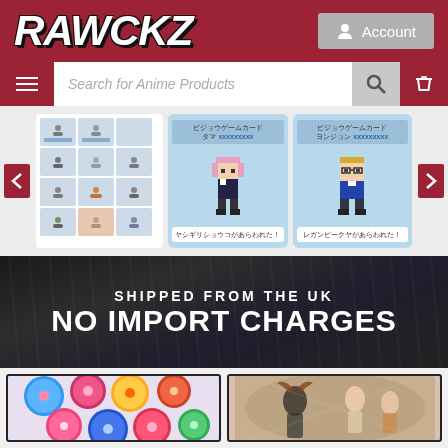[Figure (screenshot): RAWCKZ anime merchandise website header with dark red/maroon background showing the RAWCKZ logo in white italic bold text on the left and a grey Account button with user icon on the right]
[Figure (screenshot): Navigation/search bar with hamburger menu icon on dark red left, white search input field with italic placeholder 'Search for Anime Products', grey search magnifier icon, and dark red shopping cart icon]
[Figure (screenshot): Product carousel showing anime character figurine/card products. Left panel shows a grid of small chibi character cards. Middle and right panels show pixel-art style character cards with Japanese text labels. Left and right red arrow navigation buttons visible.]
[Figure (screenshot): Dark promotional banner with background photo of city street crowd at night. Text reads 'SHIPPED FROM THE UK' in white above 'NO IMPORT CHARGES' in large bold white capitals]
[Figure (screenshot): Two product thumbnail images at bottom: left shows colorful circular pin badges/buttons with anime artwork, right shows anime illustration with multiple characters in dramatic poses]